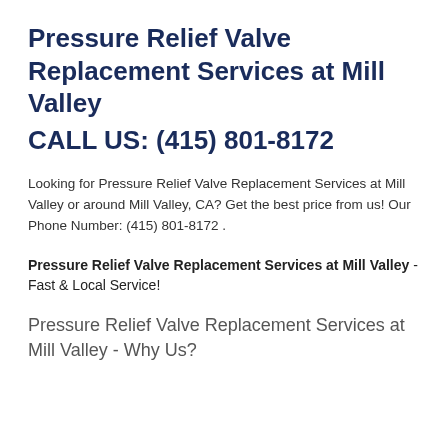Pressure Relief Valve Replacement Services at Mill Valley
CALL US: (415) 801-8172
Looking for Pressure Relief Valve Replacement Services at Mill Valley or around Mill Valley, CA? Get the best price from us! Our Phone Number: (415) 801-8172 .
Pressure Relief Valve Replacement Services at Mill Valley - Fast & Local Service!
Pressure Relief Valve Replacement Services at Mill Valley - Why Us?